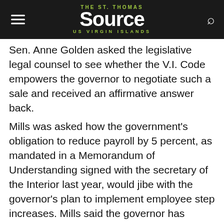The St. Thomas Source — US Virgin Islands
Sen. Anne Golden asked the legislative legal counsel to see whether the V.I. Code empowers the governor to negotiate such a sale and received an affirmative answer back.
Mills was asked how the government's obligation to reduce payroll by 5 percent, as mandated in a Memorandum of Understanding signed with the secretary of the Interior last year, would jibe with the governor's plan to implement employee step increases. Mills said the governor has planned a summit with labor leaders in the next few weeks to discuss this.
Updating the senators on the government's fiscal situation, Mills said projected revenues for FY 2000 now stand at $439.1 million. The legislative appropriation is $451.3. He said OMB has set the FY 2000 ceiling at the level of projected revenues, leaving a deficit of $12.2 million.
Farrington, asked about the status of income tax refunds